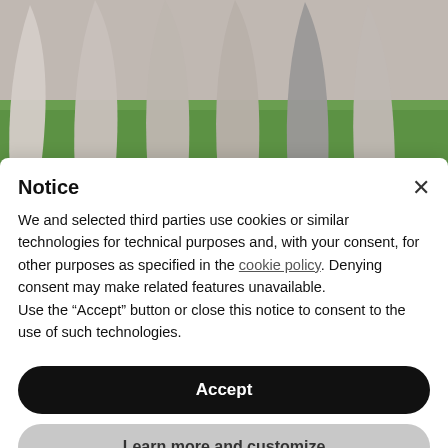[Figure (photo): Wedding photo showing bridesmaids in light gray/blush dresses standing on green grass, cropped to show only lower portion of dresses and feet]
WEDDING
Notice
We and selected third parties use cookies or similar technologies for technical purposes and, with your consent, for other purposes as specified in the cookie policy. Denying consent may make related features unavailable.
Use the "Accept" button or close this notice to consent to the use of such technologies.
Accept
Learn more and customize